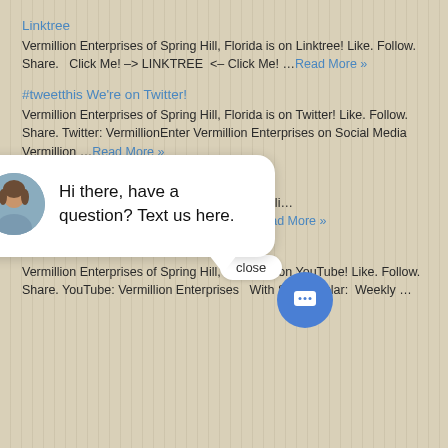Linktree
Vermillion Enterprises of Spring Hill, Florida is on Linktree! Like. Follow. Share.   Click Me! –> LINKTREE  <– Click Me! …Read More »
#tweetthis We're on Twitter!
Vermillion Enterprises of Spring Hill, Florida is on Twitter! Like. Follow. Share. Twitter: VermillionEnter Vermillion Enterprises on Social Media Vermillion …Read More »
Tick, Tock – Are You o…
Vermillion Enterprises … Share. TikTok: vermilli… @vermillionenterprise… ##silverbullion …Read More »
Subscribe To Us on YouTube!
Vermillion Enterprises of Spring Hill, Florida is on YouTube! Like. Follow. Share. YouTube: Vermillion Enterprises   With Spegtacular:  Weekly …
[Figure (screenshot): Chat widget popup with avatar of a woman and text 'Hi there, have a question? Text us here.' with a close button and a blue chat icon button]